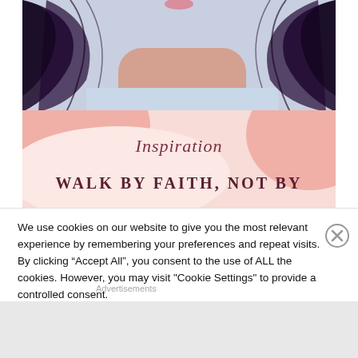[Figure (photo): Partial view of a woman's face and hair from above, showing dark hair flowing and neck/shoulder area with light blue/white clothing]
[Figure (illustration): Pink and light pink blob/organic shapes background with cursive text 'Inspiration' and bold text 'WALK BY FAITH, NOT BY']
We use cookies on our website to give you the most relevant experience by remembering your preferences and repeat visits. By clicking “Accept All”, you consent to the use of ALL the cookies. However, you may visit "Cookie Settings" to provide a controlled consent.
Advertisements